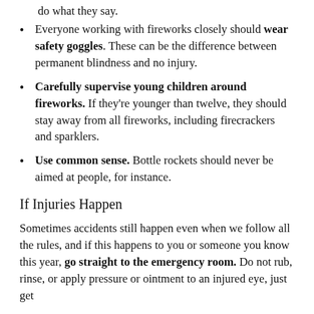do what they say.
Everyone working with fireworks closely should wear safety goggles. These can be the difference between permanent blindness and no injury.
Carefully supervise young children around fireworks. If they're younger than twelve, they should stay away from all fireworks, including firecrackers and sparklers.
Use common sense. Bottle rockets should never be aimed at people, for instance.
If Injuries Happen
Sometimes accidents still happen even when we follow all the rules, and if this happens to you or someone you know this year, go straight to the emergency room. Do not rub, rinse, or apply pressure or ointment to an injured eye, just get